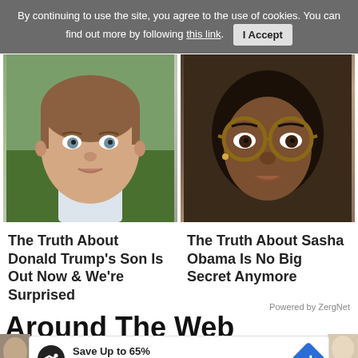By continuing to use the site, you agree to the use of cookies. You can find out more by following this link. I Accept
[Figure (photo): Close-up photo of a young boy with short brown hair, light eyes, wearing a white shirt, outdoors with green background]
[Figure (photo): Close-up photo of a young Black girl wearing round tortoiseshell glasses, serious expression]
The Truth About Donald Trump's Son Is Out Now & We're Surprised
The Truth About Sasha Obama Is No Big Secret Anymore
Powered by ZergNet
Around The Web
[Figure (screenshot): Advertisement banner: Save Up to 65% Leesburg Premium Outlets with logo and arrow icon]